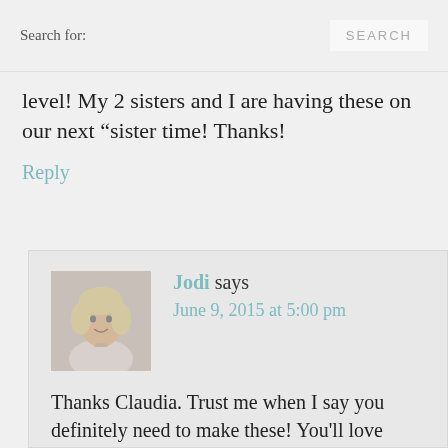Search for:   SEARCH
level! My 2 sisters and I are having these on our next “sister time! Thanks!
Reply
[Figure (photo): Avatar photo of Jodi, a woman with blonde hair]
Jodi says
June 9, 2015 at 5:00 pm
Thanks Claudia. Trust me when I say you definitely need to make these! You’ll love them.
Reply